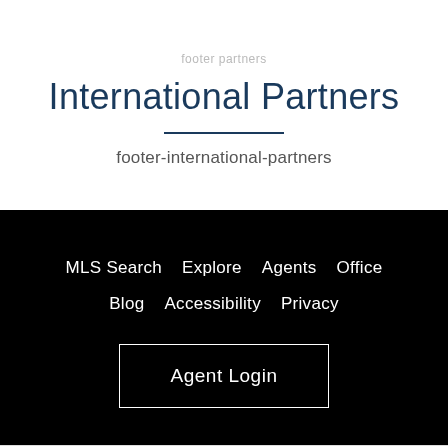footer partners
International Partners
footer-international-partners
MLS Search   Explore   Agents   Office   Blog   Accessibility   Privacy
Agent Login